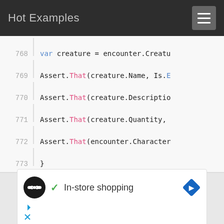Hot Examples
[Figure (screenshot): Code editor screenshot showing lines 768-773 of C# code with syntax highlighting. Line 768: var creature = encounter.Creatu... Line 769: Assert.That(creature.Name, Is.E... Line 770: Assert.That(creature.Descriptio... Line 771: Assert.That(creature.Quantity,... Line 772: Assert.That(encounter.Character... Line 773: }]
[Figure (screenshot): Advertisement block showing an infinity-loop circle icon, a green checkmark, text 'In-store shopping', a blue diamond navigation arrow icon, and ad control icons (play and close) below.]